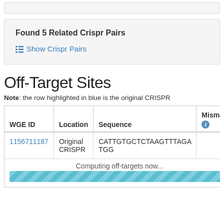Found 5 Related Crispr Pairs
Show Crispr Pairs
Off-Target Sites
Note: the row highlighted in blue is the original CRISPR
| WGE ID | Location | Sequence | Mismatch |
| --- | --- | --- | --- |
| 1156711187 | Original CRISPR | CATTGTGCTCTAAGTTTAGA TGG |  |
Computing off-targets now...